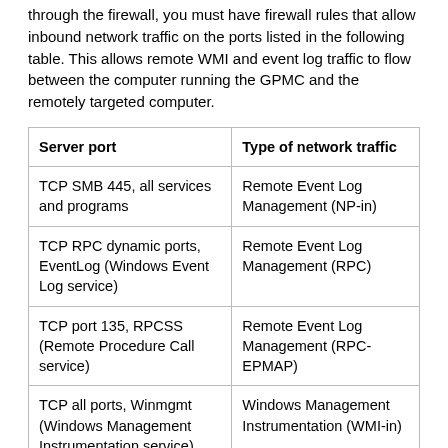through the firewall, you must have firewall rules that allow inbound network traffic on the ports listed in the following table. This allows remote WMI and event log traffic to flow between the computer running the GPMC and the remotely targeted computer.
| Server port | Type of network traffic |
| --- | --- |
| TCP SMB 445, all services and programs | Remote Event Log Management (NP-in) |
| TCP RPC dynamic ports, EventLog (Windows Event Log service) | Remote Event Log Management (RPC) |
| TCP port 135, RPCSS (Remote Procedure Call service) | Remote Event Log Management (RPC-EPMAP) |
| TCP all ports, Winmgmt (Windows Management Instrumentation service) | Windows Management Instrumentation (WMI-in) |